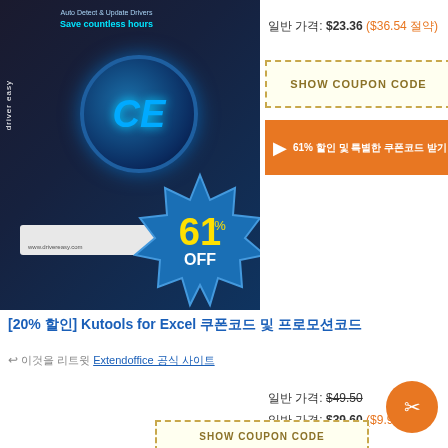[Figure (screenshot): Driver Easy software box with 61% OFF badge, showing Auto Detect & Update Drivers product packaging with CE logo]
일반 가격: $23.36 ($36.54 절약)
SHOW COUPON CODE
▶ 61% 할인 및 특별한 쿠폰 코드 받기
[20% 할인] Kutools for Excel 쿠폰코드 및 프로모션코드
↩ 이것을 리트윗 Extendoffice 공식 사이트
일반 가격: $49.50
일반 가격: $39.60 ($9.90 절약)
SHOW COUPON CODE